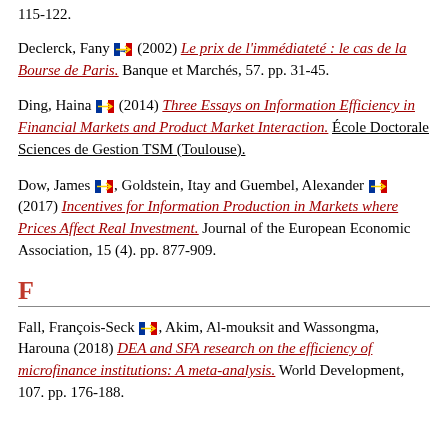115-122.
Declerck, Fany [icon] (2002) Le prix de l'immédiateté : le cas de la Bourse de Paris. Banque et Marchés, 57. pp. 31-45.
Ding, Haina [icon] (2014) Three Essays on Information Efficiency in Financial Markets and Product Market Interaction. École Doctorale Sciences de Gestion TSM (Toulouse).
Dow, James [icon], Goldstein, Itay and Guembel, Alexander [icon] (2017) Incentives for Information Production in Markets where Prices Affect Real Investment. Journal of the European Economic Association, 15 (4). pp. 877-909.
F
Fall, François-Seck [icon], Akim, Al-mouksit and Wassongma, Harouna (2018) DEA and SFA research on the efficiency of microfinance institutions: A meta-analysis. World Development, 107. pp. 176-188.